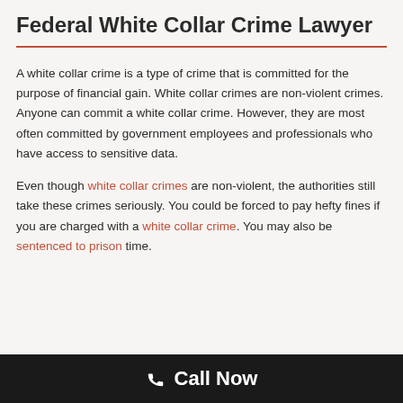Federal White Collar Crime Lawyer
A white collar crime is a type of crime that is committed for the purpose of financial gain. White collar crimes are non-violent crimes. Anyone can commit a white collar crime. However, they are most often committed by government employees and professionals who have access to sensitive data.
Even though white collar crimes are non-violent, the authorities still take these crimes seriously. You could be forced to pay hefty fines if you are charged with a white collar crime. You may also be sentenced to prison time.
Call Now